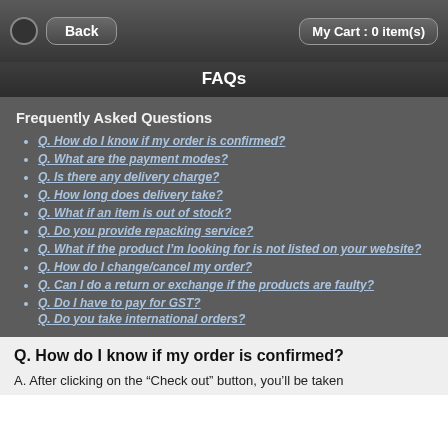Back | My Cart : 0 item(s)
FAQs
Frequently Asked Questions
Q. How do I know if my order is confirmed?
Q. What are the payment modes?
Q. Is there any delivery charge?
Q. How long does delivery take?
Q. What if an item is out of stock?
Q. Do you provide repacking service?
Q. What if the product I’m looking for is not listed on your website?
Q. How do I change/cancel my order?
Q. Can I do a return or exchange if the products are faulty?
Q. Do I have to pay for GST?
Q. Do you take international orders?
Q. How do I know if my order is confirmed?
A. After clicking on the “Check out” button, you’ll be taken